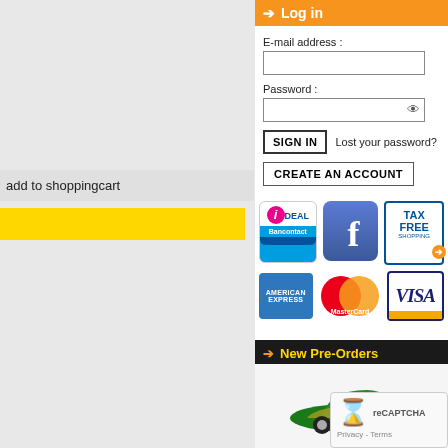add to shoppingcart
Log in
E-mail address :
Password :
SIGN IN   Lost your password?
CREATE AN ACCOUNT
[Figure (logo): Payment method logos: iDEAL/Bancontact, Facebook, Tax Free Shopping, American Express, MasterCard, Visa]
New Pre-Orders
[Figure (photo): Green toy car model (mmax79023)]
mmax79023
€23.99